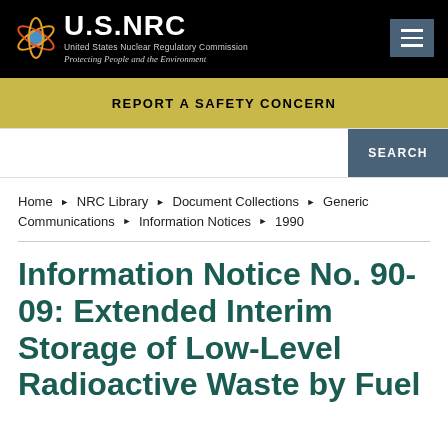[Figure (logo): U.S. NRC logo with atom graphic and text: United States Nuclear Regulatory Commission, Protecting People and the Environment]
REPORT A SAFETY CONCERN
SEARCH
Home ▶ NRC Library ▶ Document Collections ▶ Generic Communications ▶ Information Notices ▶ 1990
Information Notice No. 90-09: Extended Interim Storage of Low-Level Radioactive Waste by Fuel